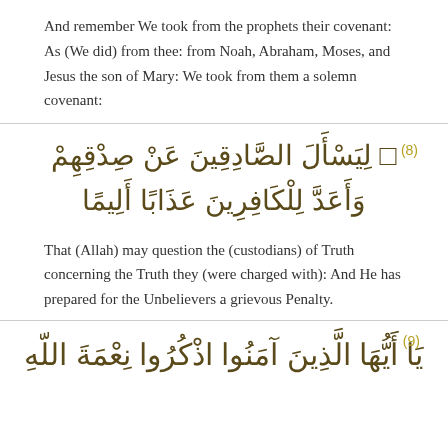And remember We took from the prophets their covenant: As (We did) from thee: from Noah, Abraham, Moses, and Jesus the son of Mary: We took from them a solemn covenant:
[Figure (other): Arabic Quranic verse 8: liyasala al-sadiqina 'an sidqihim wa-a'adda lil-kafireena 'adhaban aleema]
That (Allah) may question the (custodians) of Truth concerning the Truth they (were charged with): And He has prepared for the Unbelievers a grievous Penalty.
[Figure (other): Arabic Quranic verse 9: Ya ayyuha alladhina amanu adhkuru ni'mata Allahi]